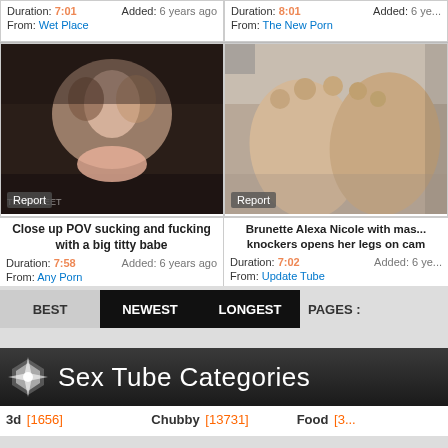Duration: 7:01  Added: 6 years ago  From: Wet Place
Duration: 8:01  Added: 6 years ago  From: The New Porn
[Figure (photo): Video thumbnail left - close up POV scene, Report button, teamskeet watermark]
[Figure (photo): Video thumbnail right - feet close up scene, Report button]
Close up POV sucking and fucking with a big titty babe
Brunette Alexa Nicole with massive knockers opens her legs on cam
Duration: 7:58  Added: 6 years ago  From: Any Porn
Duration: 7:02  Added: 6 years ago  From: Update Tube
BEST   NEWEST   LONGEST   PAGES :
Sex Tube Categories
3d [1656]   Chubby [13731]   Food [3...]